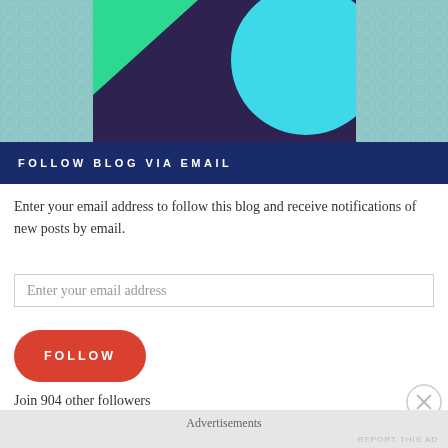[Figure (illustration): Blog header banner with teal ornamental patterned sides, dark purple center block, green triangular shape on left, and cyan circle on right]
FOLLOW BLOG VIA EMAIL
Enter your email address to follow this blog and receive notifications of new posts by email.
Enter your email address
FOLLOW
Join 904 other followers
Advertisements
REPORT THIS AD